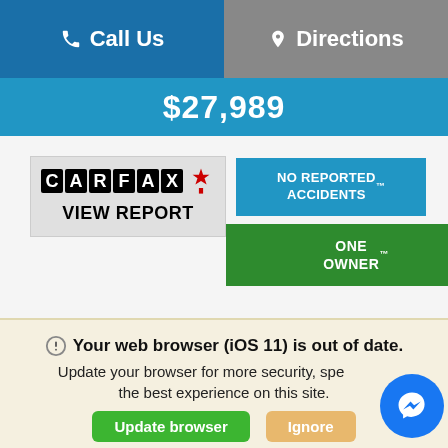Call Us | Directions
$27,989
[Figure (logo): CARFAX Canada logo with maple leaf and VIEW REPORT text]
NO REPORTED ACCIDENTS™
ONE OWNER™
Get Best Price
Your web browser (iOS 11) is out of date. Update your browser for more security, speed and the best experience on this site.
Update browser | Ignore